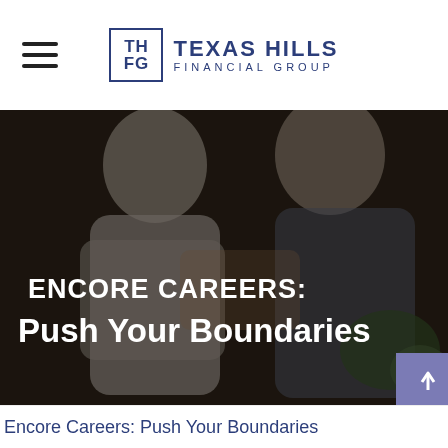Texas Hills Financial Group
[Figure (photo): Two older Asian adults wearing aprons, tending to plants together, smiling. Overlaid with bold white text reading 'ENCORE CAREERS: Push Your Boundaries'. A purple scroll-to-top button in bottom right corner.]
Encore Careers: Push Your Boundaries